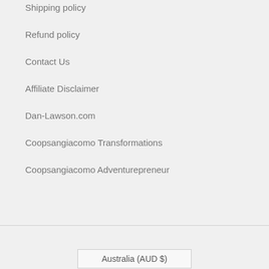Shipping policy
Refund policy
Contact Us
Affiliate Disclaimer
Dan-Lawson.com
Coopsangiacomo Transformations
Coopsangiacomo Adventurepreneur
Australia (AUD $)